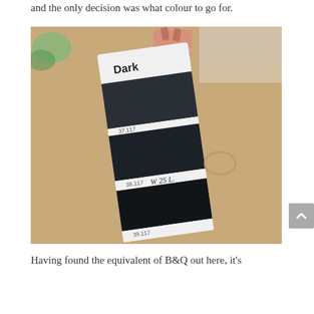and the only decision was what colour to go for.
[Figure (photo): A dark paint colour swatch card labeled 'Dark' with three dark grey/black paint samples numbered 37.117, 38.117, and 39.117, clipped with a rose gold binder clip, resting on a gold/tan fabric surface.]
Having found the equivalent of B&Q out here, it's